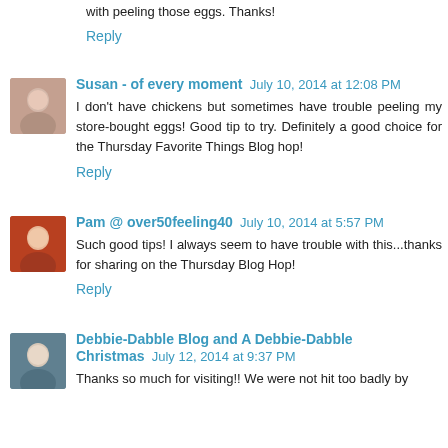with peeling those eggs. Thanks!
Reply
Susan - of every moment  July 10, 2014 at 12:08 PM
I don't have chickens but sometimes have trouble peeling my store-bought eggs! Good tip to try. Definitely a good choice for the Thursday Favorite Things Blog hop!
Reply
Pam @ over50feeling40  July 10, 2014 at 5:57 PM
Such good tips! I always seem to have trouble with this...thanks for sharing on the Thursday Blog Hop!
Reply
Debbie-Dabble Blog and A Debbie-Dabble Christmas  July 12, 2014 at 9:37 PM
Thanks so much for visiting!! We were not hit too badly by